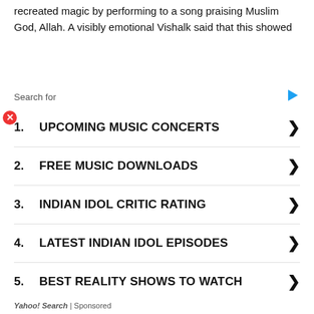recreated magic by performing to a song praising Muslim God, Allah. A visibly emotional Vishalk said that this showed
Search for
1. UPCOMING MUSIC CONCERTS
2. FREE MUSIC DOWNLOADS
3. INDIAN IDOL CRITIC RATING
4. LATEST INDIAN IDOL EPISODES
5. BEST REALITY SHOWS TO WATCH
Yahoo! Search | Sponsored